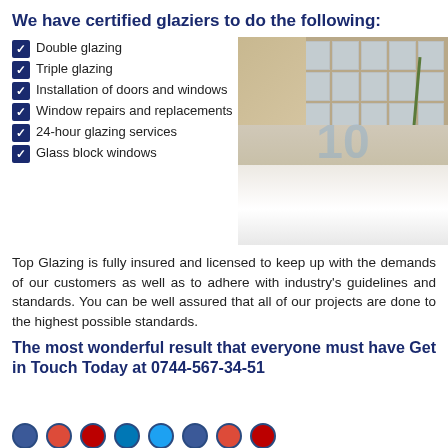We have certified glaziers to do the following:
Double glazing
Triple glazing
Installation of doors and windows
Window repairs and replacements
24-hour glazing services
Glass block windows
[Figure (photo): Bathroom interior with glass block window above a bathtub, with a plant and decorative items. Watermark visible on image.]
Top Glazing is fully insured and licensed to keep up with the demands of our customers as well as to adhere with industry's guidelines and standards. You can be well assured that all of our projects are done to the highest possible standards.
The most wonderful result that everyone must have Get in Touch Today at 0744-567-34-51